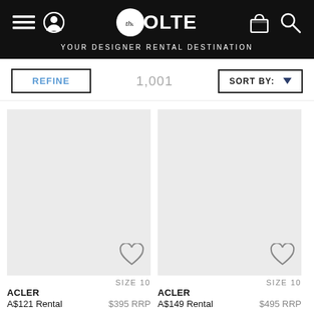The VOLTE — YOUR DESIGNER RENTAL DESTINATION
REFINE
1,001
SORT BY:
[Figure (photo): Empty grey product image placeholder for first item]
SIZE 10
ACLER
A$121 Rental    $395 RRP
[Figure (photo): Empty grey product image placeholder for second item]
SIZE 10
ACLER
A$149 Rental    $495 RRP
[Figure (photo): Partially visible grey product image placeholder bottom left]
[Figure (photo): Partially visible grey product image placeholder bottom right]